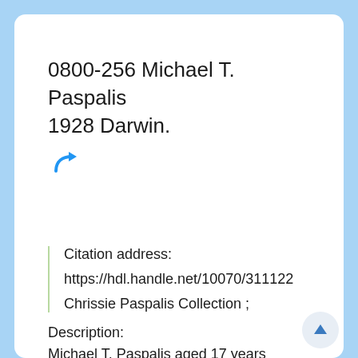0800-256 Michael T. Paspalis 1928 Darwin.
[Figure (other): Blue arrow/redirect icon]
Citation address:
https://hdl.handle.net/10070/311122
Chrissie Paspalis Collection ;
Description:
Michael T. Paspalis aged 17 years